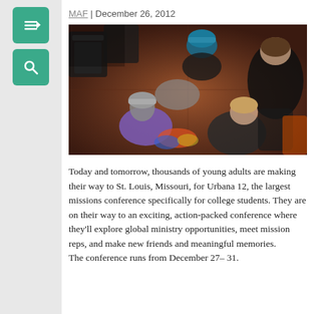MAF | December 26, 2012
[Figure (photo): Overhead view of a group of young adults sitting in a circle on a wooden floor, wearing winter hats and casual clothes, gathered together in discussion or prayer. Chairs visible in the background.]
Today and tomorrow, thousands of young adults are making their way to St. Louis, Missouri, for Urbana 12, the largest missions conference specifically for college students. They are on their way to an exciting, action-packed conference where they'll explore global ministry opportunities, meet mission reps, and make new friends and meaningful memories.
The conference runs from December 27– 31.